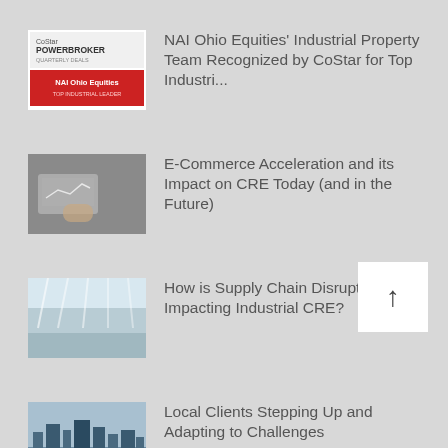NAI Ohio Equities' Industrial Property Team Recognized by CoStar for Top Industri...
E-Commerce Acceleration and its Impact on CRE Today (and in the Future)
How is Supply Chain Disruption Impacting Industrial CRE?
Local Clients Stepping Up and Adapting to Challenges